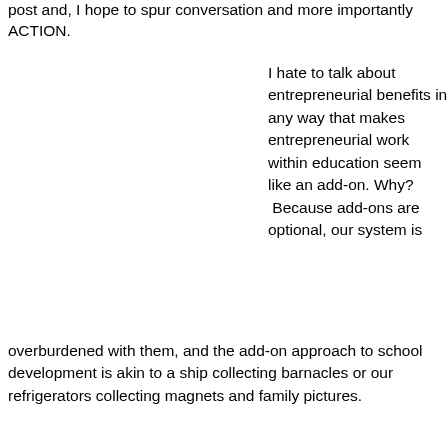post and, I hope to spur conversation and more importantly ACTION.
I hate to talk about entrepreneurial benefits in any way that makes entrepreneurial work within education seem like an add-on. Why? Because add-ons are optional, our system is overburdened with them, and the add-on approach to school development is akin to a ship collecting barnacles or our refrigerators collecting magnets and family pictures.